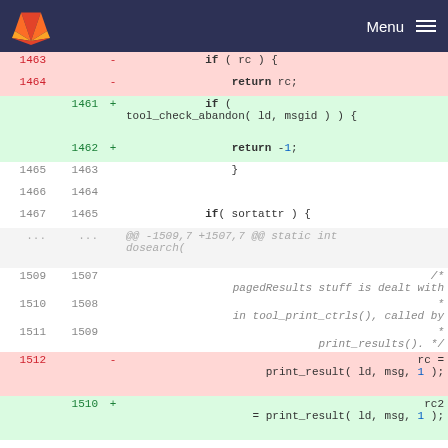GitLab Menu
[Figure (screenshot): Code diff view showing changes to a C source file around lines 1461-1512, with deletions highlighted in red and additions in green.]